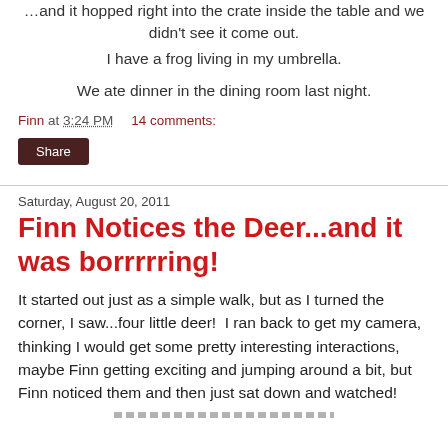...and it hopped right into the crate inside the table and we didn't see it come out.
I have a frog living in my umbrella.
We ate dinner in the dining room last night.
Finn at 3:24 PM    14 comments:
Share
Saturday, August 20, 2011
Finn Notices the Deer...and it was borrrrring!
It started out just as a simple walk, but as I turned the corner, I saw...four little deer!  I ran back to get my camera, thinking I would get some pretty interesting interactions, maybe Finn getting exciting and jumping around a bit, but Finn noticed them and then just sat down and watched!